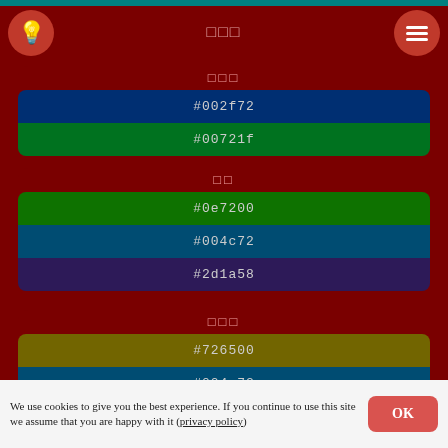□□□
#002f72
#00721f
□□
#0e7200
#004c72
#2d1a58
□□□
#726500
#004c72
#002f72
We use cookies to give you the best experience. If you continue to use this site we assume that you are happy with it (privacy policy)